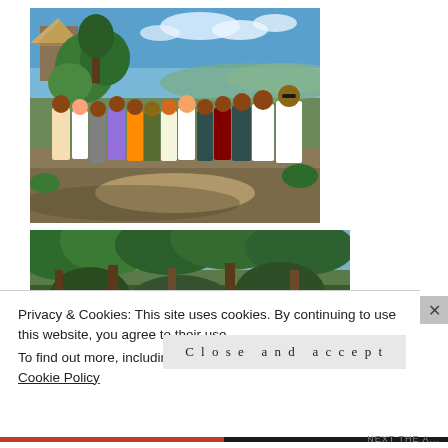[Figure (photo): Group of people standing outdoors on a hill with trees, a thatched structure, and a panoramic landscape view in the background under a blue sky with clouds.]
[Figure (photo): Partial view of trees and tropical vegetation from a lower vantage point.]
Privacy & Cookies: This site uses cookies. By continuing to use this website, you agree to their use.
To find out more, including how to control cookies, see here: Cookie Policy
Close and accept